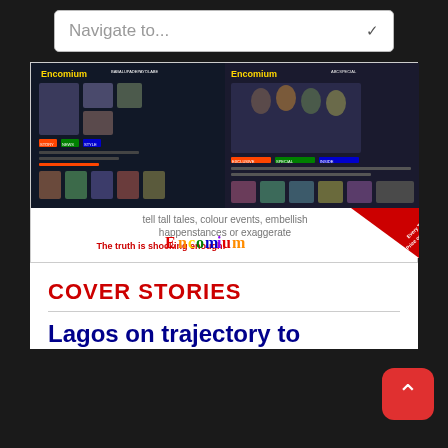[Figure (screenshot): Navigation dropdown bar with 'Navigate to...' placeholder text and dropdown arrow, dark background]
[Figure (photo): Encomium magazine advertisement showing two magazine covers side by side with colorful headlines, photos of people, followed by text 'tell tall tales, colour events, embellish happenstances or exaggerate', red slogan 'The truth is shocking enough!', Encomium logo, and red diagonal banner]
COVER STORIES
Lagos on trajectory to